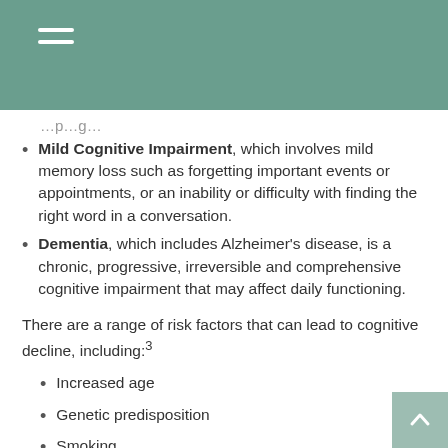Mild Cognitive Impairment, which involves mild memory loss such as forgetting important events or appointments, or an inability or difficulty with finding the right word in a conversation.
Dementia, which includes Alzheimer's disease, is a chronic, progressive, irreversible and comprehensive cognitive impairment that may affect daily functioning.
There are a range of risk factors that can lead to cognitive decline, including:3
Increased age
Genetic predisposition
Smoking
Excessive use of alcohol
Physical and mental inactivity
Chronic stress
Medical conditions, such as diabetes, depression, high blood pressure, and high cholesterol
Low social involvement